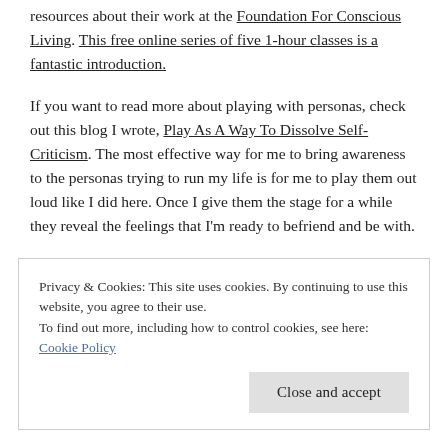resources about their work at the Foundation For Conscious Living. This free online series of five 1-hour classes is a fantastic introduction.
If you want to read more about playing with personas, check out this blog I wrote, Play As A Way To Dissolve Self-Criticism. The most effective way for me to bring awareness to the personas trying to run my life is for me to play them out loud like I did here. Once I give them the stage for a while they reveal the feelings that I'm ready to befriend and be with.
Privacy & Cookies: This site uses cookies. By continuing to use this website, you agree to their use. To find out more, including how to control cookies, see here: Cookie Policy